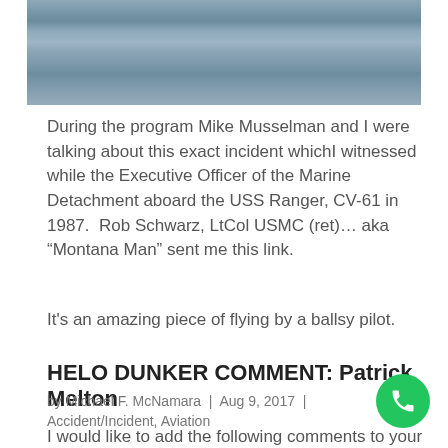[Figure (photo): Aerial or ocean surface photograph showing water/sea in muted blue-grey tones, cropped at top of page]
During the program Mike Musselman and I were talking about this exact incident whichI witnessed while the Executive Officer of the Marine Detachment aboard the USS Ranger, CV-61 in 1987.  Rob Schwarz, LtCol USMC (ret)... aka “Montana Man” sent me this link.
It's an amazing piece of flying by a ballsy pilot.
HELO DUNKER COMMENT: Patrick Melton
by Michael F. McNamara  |  Aug 9, 2017  |  Accident/Incident, Aviation
I would like to add the following comments to your